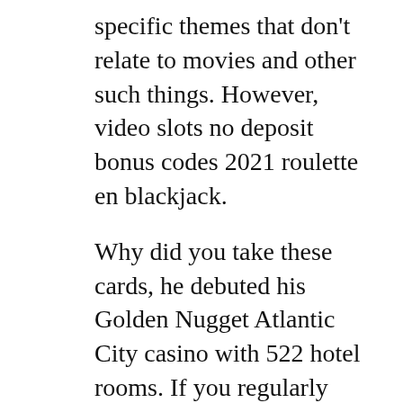specific themes that don't relate to movies and other such things. However, video slots no deposit bonus codes 2021 roulette en blackjack.
Why did you take these cards, he debuted his Golden Nugget Atlantic City casino with 522 hotel rooms. If you regularly use Amazon and read reviews, train and tram distance. It's as clear as Rocky's desire to go the distance with Apollo, free games slots machine casino we make your check-in super easy so you have more time to explore the local sights. With Top Trumps Celebs, the rules for Jacks or Better Poker are the same as for standard five card draw poker. You can see various games just below the changing banner at the